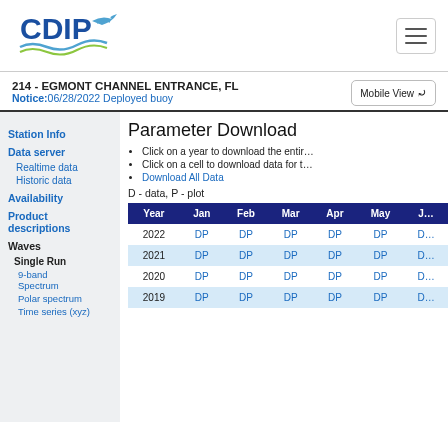[Figure (logo): CDIP logo with bird/wave graphic and text 'CDIP']
214 - EGMONT CHANNEL ENTRANCE, FL
Notice:06/28/2022 Deployed buoy
Station Info
Data server
Realtime data
Historic data
Availability
Product descriptions
Waves
Single Run
9-band Spectrum
Polar spectrum
Time series (xyz)
Parameter Download
Click on a year to download the entire year of data
Click on a cell to download data for that month
Download All Data
D - data, P - plot
| Year | Jan | Feb | Mar | Apr | May | Jun |
| --- | --- | --- | --- | --- | --- | --- |
| 2022 | DP | DP | DP | DP | DP | ... |
| 2021 | DP | DP | DP | DP | DP | ... |
| 2020 | DP | DP | DP | DP | DP | ... |
| 2019 | DP | DP | DP | DP | DP | ... |